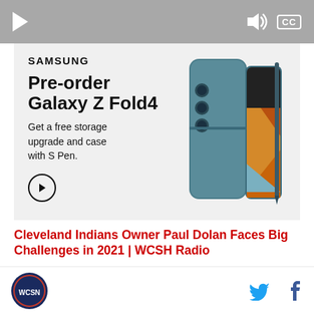[Figure (screenshot): Video player control bar with play button on left and volume/CC controls on right, gray background]
[Figure (infographic): Samsung advertisement for Galaxy Z Fold4 pre-order promotion. Text: SAMSUNG, Pre-order Galaxy Z Fold4, Get a free storage upgrade and case with S Pen. Arrow button circle. Image of Samsung Galaxy Z Fold4 phone in teal/gray color with S Pen.]
Cleveland Indians Owner Paul Dolan Faces Big Challenges in 2021 | WCSH Radio
[Figure (logo): Circular site logo with dark blue background]
[Figure (infographic): Social share icons: Twitter bird icon in blue and Facebook f icon in dark blue]